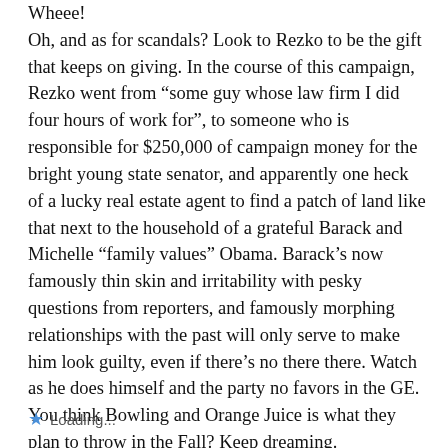Wheee!
Oh, and as for scandals? Look to Rezko to be the gift that keeps on giving. In the course of this campaign, Rezko went from “some guy whose law firm I did four hours of work for”, to someone who is responsible for $250,000 of campaign money for the bright young state senator, and apparently one heck of a lucky real estate agent to find a patch of land like that next to the household of a grateful Barack and Michelle “family values” Obama. Barack’s now famously thin skin and irritability with pesky questions from reporters, and famously morphing relationships with the past will only serve to make him look guilty, even if there’s no there there. Watch as he does himself and the party no favors in the GE. You think Bowling and Orange Juice is what they plan to throw in the Fall? Keep dreaming.
Loading...